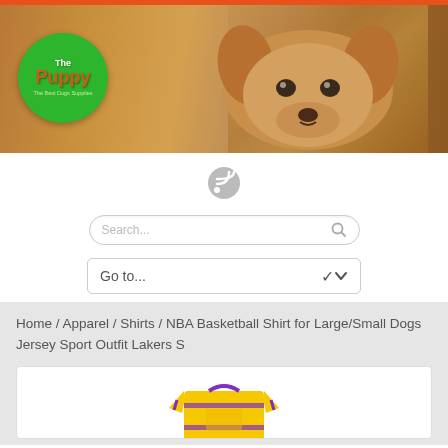[Figure (photo): ThePuppy website header banner showing a puppy peeking out of a paper bag, with The Puppy The Best Dogs Supplies logo in a green circle on the left]
[Figure (other): RSS feed icon - circular gray button with wifi/RSS symbol]
[Figure (other): Search bar with placeholder text 'Search...' and magnifying glass icon]
[Figure (other): Navigation dropdown menu with 'Go to...' placeholder and chevron arrow]
Home / Apparel / Shirts / NBA Basketball Shirt for Large/Small Dogs Jersey Sport Outfit Lakers S
[Figure (photo): Yellow and purple NBA Lakers dog jersey shirt product image, partially visible]